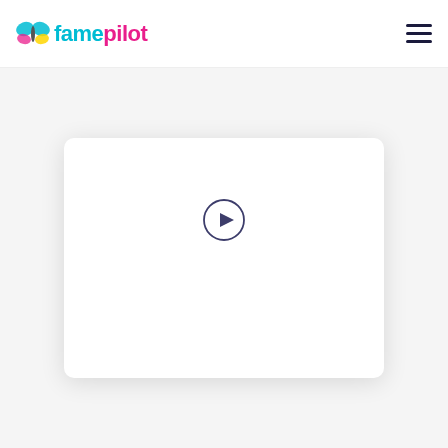famepilot
[Figure (screenshot): Video player card with white background, rounded corners, drop shadow, and a circular play button in the center-upper area]